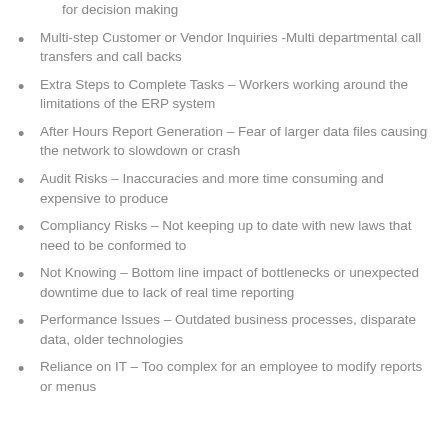for decision making
Multi-step Customer or Vendor Inquiries -Multi departmental call transfers and call backs
Extra Steps to Complete Tasks – Workers working around the limitations of the ERP system
After Hours Report Generation – Fear of larger data files causing the network to slowdown or crash
Audit Risks – Inaccuracies and more time consuming and expensive to produce
Compliancy Risks – Not keeping up to date with new laws that need to be conformed to
Not Knowing – Bottom line impact of bottlenecks or unexpected downtime due to lack of real time reporting
Performance Issues – Outdated business processes, disparate data, older technologies
Reliance on IT – Too complex for an employee to modify reports or menus